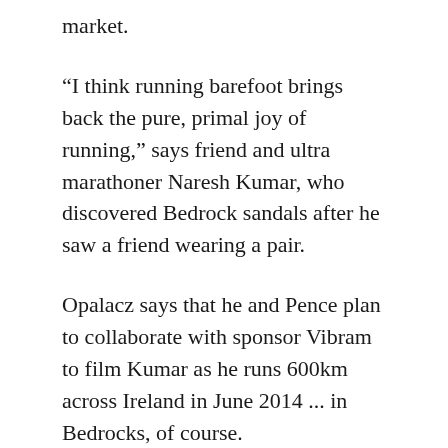market.
“I think running barefoot brings back the pure, primal joy of running,” says friend and ultra marathoner Naresh Kumar, who discovered Bedrock sandals after he saw a friend wearing a pair.
Opalacz says that he and Pence plan to collaborate with sponsor Vibram to film Kumar as he runs 600km across Ireland in June 2014 ... in Bedrocks, of course.
BedrockSandals.com